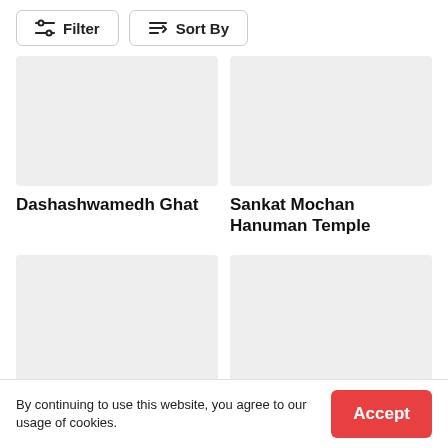[Figure (screenshot): Filter button with sliders icon]
[Figure (screenshot): Sort By button with sort icon]
[Figure (photo): Gray placeholder image for Dashashwamedh Ghat]
Dashashwamedh Ghat
[Figure (photo): Gray placeholder image for Sankat Mochan Hanuman Temple]
Sankat Mochan Hanuman Temple
[Figure (photo): Gray placeholder image for Assi Ghat]
Assi Ghat
[Figure (photo): Gray placeholder image for Vishwanath Gali]
Vishwanath Gali
By continuing to use this website, you agree to our usage of cookies.